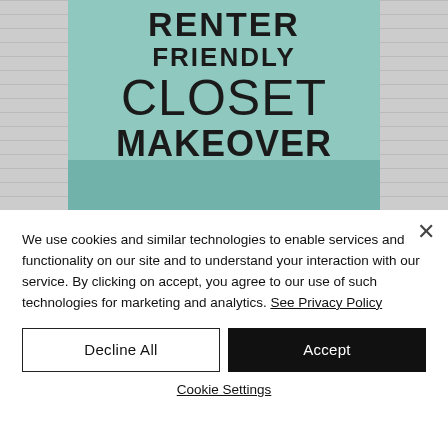[Figure (illustration): A teal/mint-colored closet makeover promotional image with large bold text reading 'RENTER FRIENDLY CLOSET MAKEOVER' overlaid on a teal background, flanked by grey brick texture on both sides. A closet interior is visible in the lower portion.]
We use cookies and similar technologies to enable services and functionality on our site and to understand your interaction with our service. By clicking on accept, you agree to our use of such technologies for marketing and analytics. See Privacy Policy
Decline All
Accept
Cookie Settings